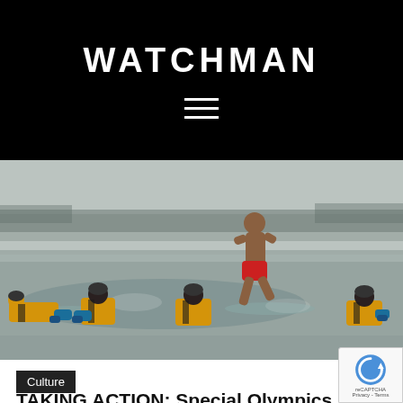WATCHMAN
[Figure (photo): Person in red swim shorts jumping into icy water while rescue workers in yellow drysuits sit in the water around the hole in the ice on a frozen lake. Snow-covered landscape in the background.]
Culture
TAKING ACTION: Special Olympics plunge/ Assisting sex trafficking victims